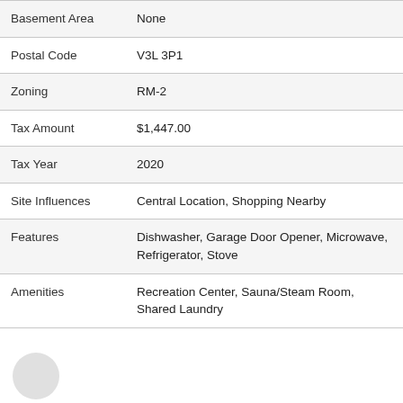| Field | Value |
| --- | --- |
| Basement Area | None |
| Postal Code | V3L 3P1 |
| Zoning | RM-2 |
| Tax Amount | $1,447.00 |
| Tax Year | 2020 |
| Site Influences | Central Location, Shopping Nearby |
| Features | Dishwasher, Garage Door Opener, Microwave, Refrigerator, Stove |
| Amenities | Recreation Center, Sauna/Steam Room, Shared Laundry |